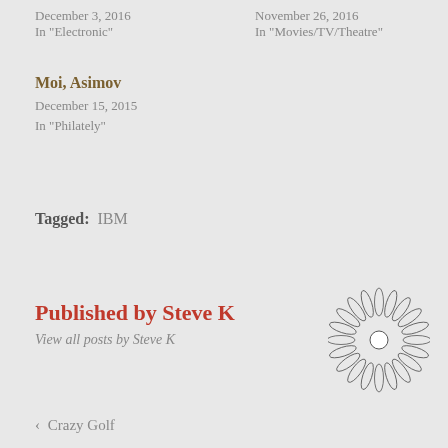December 3, 2016
In "Electronic"
November 26, 2016
In "Movies/TV/Theatre"
Moi, Asimov
December 15, 2015
In "Philately"
Tagged:   IBM
Published by Steve K
View all posts by Steve K
[Figure (illustration): Decorative snowflake/daisy radial pattern illustration in outline style]
< Crazy Golf